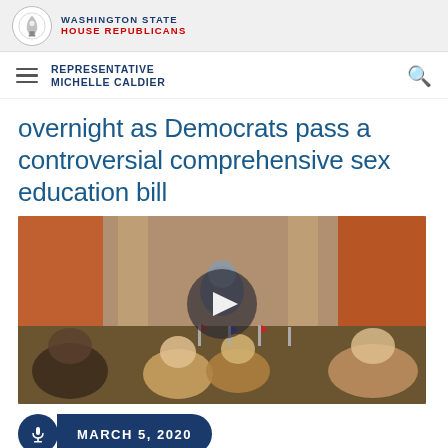WASHINGTON STATE HOUSE REPUBLICANS
REPRESENTATIVE MICHELLE CALDIER
overnight as Democrats pass a controversial comprehensive sex education bill
[Figure (photo): Legislative chamber photo showing a representative speaking at a podium with other legislators seated, American flags on desks, ornate room with red curtains and marble columns. A video play button overlay is visible.]
MARCH 5, 2020